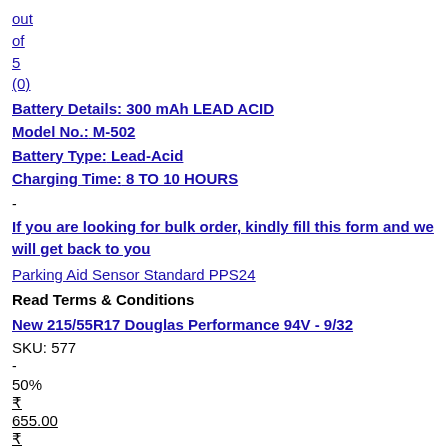out
of
5
(0)
Battery Details: 300 mAh LEAD ACID
Model No.: M-502
Battery Type: Lead-Acid
Charging Time: 8 TO 10 HOURS
-
If you are looking for bulk order, kindly fill this form and we will get back to you
Parking Aid Sensor Standard PPS24
Read Terms & Conditions
New 215/55R17 Douglas Performance 94V - 9/32
SKU: 577
-
50%
₹
655.00
₹